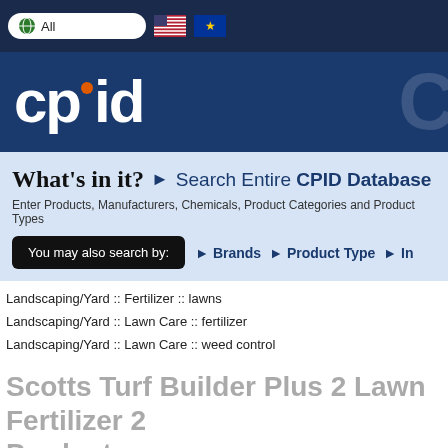[Figure (screenshot): Top navigation bar with search box showing 'All', US flag, and EU flag icons on dark navy background]
[Figure (logo): CPID logo in white on dark blue background with orange dot between 'cp' and 'id']
What's in it? ▶ Search Entire CPID Database
Enter Products, Manufacturers, Chemicals, Product Categories and Product Types
You may also search by:   ▶ Brands   ▶ Product Type   ▶ In
Landscaping/Yard :: Fertilizer :: lawns
Landscaping/Yard :: Lawn Care :: fertilizer
Landscaping/Yard :: Lawn Care :: weed control
Scotts Turf Builder Plus 2 Lawn Fertilizer 2 Product